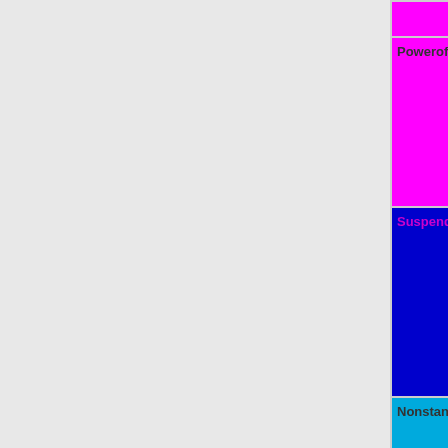| Feature | Status |
| --- | --- |
|  | yellow }}" | OK |
| Poweroff | OK=lime | TODO=red | No=red | WIP=orange | Untested=yellow | N/A=lightgray | yellow }}" | No |
| Suspend | OK=lime | TODO=red | No=red | WIP=orange | Untested=yellow | N/A=lightgray | yellow }}" | Unknown |
| Nonstandard LEDs | OK=lime | TODO=red | No=red | WIP=orange | Untested=yellow | N/A=lightgray | yellow }}" | Untested |